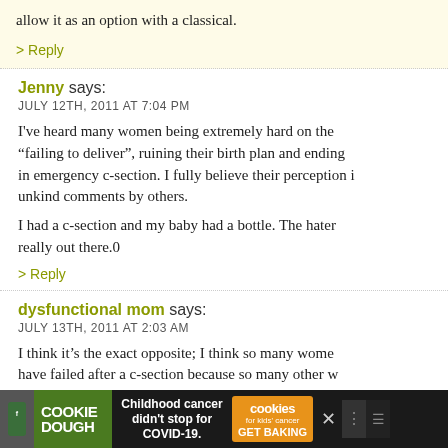allow it as an option with a classical.
> Reply
Jenny says: JULY 12TH, 2011 AT 7:04 PM
I've heard many women being extremely hard on the “failing to deliver”, ruining their birth plan and ending in emergency c-section. I fully believe their perception is unkind comments by others.
I had a c-section and my baby had a bottle. The haters really out there.0
> Reply
dysfunctional mom says: JULY 13TH, 2011 AT 2:03 AM
I think it’s the exact opposite; I think so many women have failed after a c-section because so many other w
[Figure (infographic): Advertisement bar at bottom: Cookie Dough logo, text 'Childhood cancer didn’t stop for COVID-19.', cookies for kids cancer logo with 'GET BAKING', close button, social media icons]